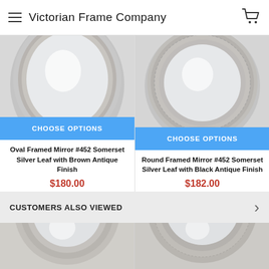Victorian Frame Company
[Figure (photo): Oval framed mirror - Somerset Silver Leaf with Brown Antique Finish, top half visible]
[Figure (photo): Round framed mirror - Somerset Silver Leaf with Black Antique Finish, top half visible]
CHOOSE OPTIONS
CHOOSE OPTIONS
Oval Framed Mirror #452 Somerset Silver Leaf with Brown Antique Finish
$180.00
Round Framed Mirror #452 Somerset Silver Leaf with Black Antique Finish
$182.00
CUSTOMERS ALSO VIEWED
[Figure (photo): Bottom portion of oval silver framed mirror]
[Figure (photo): Bottom portion of round silver framed mirror]